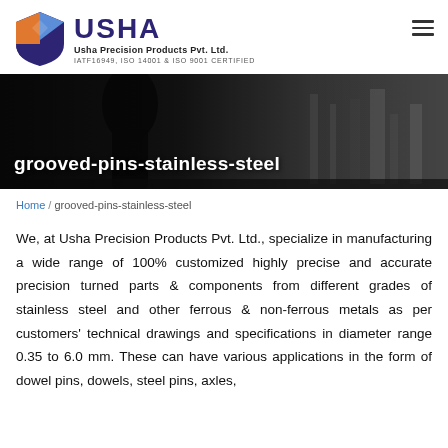[Figure (logo): Usha Precision Products Pvt. Ltd. logo with geometric shield icon in orange, blue and dark blue, and company name in bold dark blue. Below: Usha Precision Products Pvt. Ltd. and IATF16949, ISO 14001 & ISO 9001 CERTIFIED]
[Figure (photo): Black and white industrial/factory banner photo with worker in background. Text overlay reads: grooved-pins-stainless-steel]
Home / grooved-pins-stainless-steel
We, at Usha Precision Products Pvt. Ltd., specialize in manufacturing a wide range of 100% customized highly precise and accurate precision turned parts & components from different grades of stainless steel and other ferrous & non-ferrous metals as per customers' technical drawings and specifications in diameter range 0.35 to 6.0 mm. These can have various applications in the form of dowel pins, dowels, steel pins, axles,